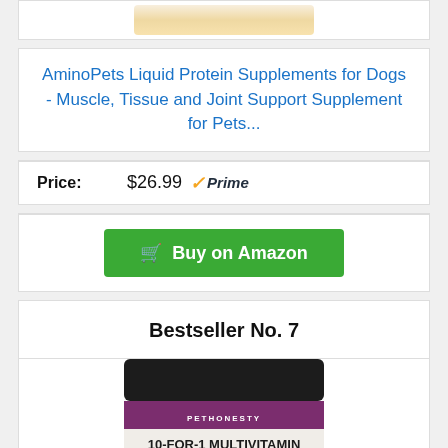[Figure (photo): Partial product image at top of page (partially cropped)]
AminoPets Liquid Protein Supplements for Dogs - Muscle, Tissue and Joint Support Supplement for Pets...
Price: $26.99 ✓Prime
Buy on Amazon
Bestseller No. 7
[Figure (photo): PetHonesty 10-For-1 Multivitamin product jar with dog image, showing glucosamine, probiotics and omegas, 90 count, chicken flavor]